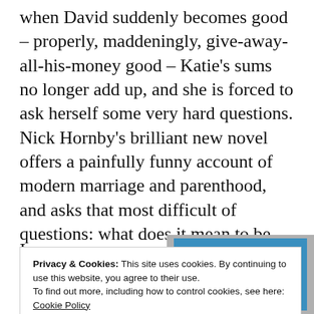when David suddenly becomes good – properly, maddeningly, give-away-all-his-money good – Katie's sums no longer add up, and she is forced to ask herself some very hard questions. Nick Hornby's brilliant new novel offers a painfully funny account of modern marriage and parenthood, and asks that most difficult of questions: what does it mean to be good?'
[Figure (photo): Partial view of a blue book cover with text 'The No. 1 Bestseller' and a Penguin logo]
I ... s ... W ...
Privacy & Cookies: This site uses cookies. By continuing to use this website, you agree to their use. To find out more, including how to control cookies, see here: Cookie Policy
Close and accept
am striving, post-